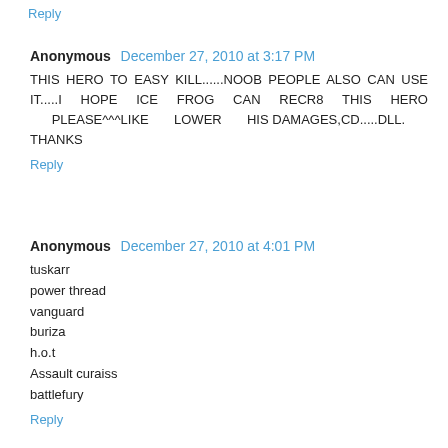Reply
Anonymous December 27, 2010 at 3:17 PM
THIS HERO TO EASY KILL......NOOB PEOPLE ALSO CAN USE IT.....I HOPE ICE FROG CAN RECR8 THIS HERO PLEASE^^^LIKE LOWER HIS DAMAGES,CD.....DLL.
THANKS
Reply
Anonymous December 27, 2010 at 4:01 PM
tuskarr
power thread
vanguard
buriza
h.o.t
Assault curaiss
battlefury
Reply